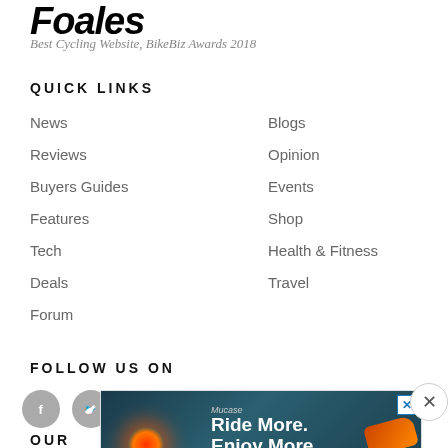Foales
Best Cycling Website, BikeBiz Awards 2018
QUICK LINKS
News
Reviews
Buyers Guides
Features
Tech
Deals
Forum
Blogs
Opinion
Events
Shop
Health & Fitness
Travel
FOLLOW US ON
[Figure (infographic): Row of 5 circular social media icons: Facebook, Twitter, YouTube, RSS, Instagram — all grey]
OUR
[Figure (photo): Advertisement overlay: dark teal background with glowing red bike light on left, white bold text 'Ride More. Enjoy More' on right, small brand text 'Mucase' at top, X close button top-right]